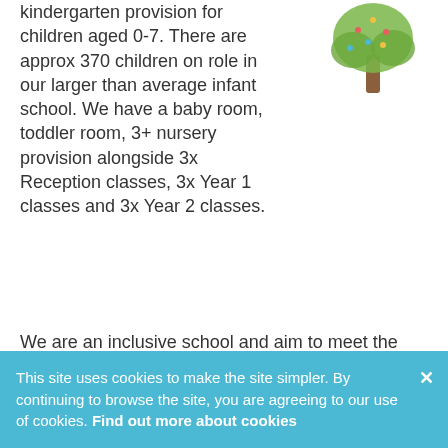kindergarten provision for children aged 0-7. There are approx 370 children on role in our larger than average infant school. We have a baby room, toddler room, 3+ nursery provision alongside 3x Reception classes, 3x Year 1 classes and 3x Year 2 classes.
[Figure (illustration): Illustration of a tree with green leaves and brown trunk, with small colorful decorations]
We are an inclusive school and aim to meet the needs of all of our children. With a highly experienced staff we deliver a broad and balanced curriculum matched to the needs and abilities of all of our children.
This site uses cookies to make the site simpler. By continuing to browse the site, you are agreeing to our use of cookies. Find out more about cookies